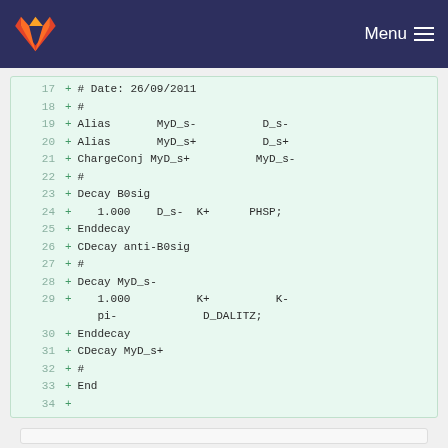GitLab — Menu
17  + # Date: 26/09/2011
18  + #
19  + Alias       MyD_s-          D_s-
20  + Alias       MyD_s+          D_s+
21  + ChargeConj MyD_s+          MyD_s-
22  + #
23  + Decay B0sig
24  +    1.000    D_s-  K+      PHSP;
25  + Enddecay
26  + CDecay anti-B0sig
27  + #
28  + Decay MyD_s-
29  +    1.000          K+          K-
       pi-             D_DALITZ;
30  + Enddecay
31  + CDecay MyD_s+
32  + #
33  + End
34  +